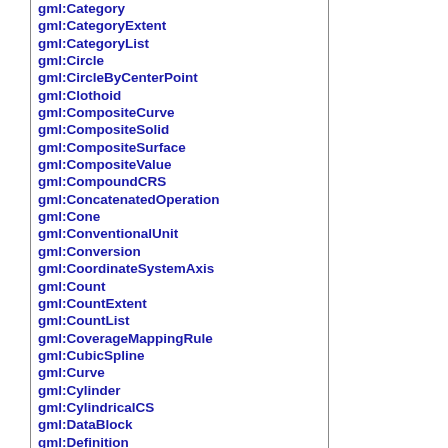gml:Category
gml:CategoryExtent
gml:CategoryList
gml:Circle
gml:CircleByCenterPoint
gml:Clothoid
gml:CompositeCurve
gml:CompositeSolid
gml:CompositeSurface
gml:CompositeValue
gml:CompoundCRS
gml:ConcatenatedOperation
gml:Cone
gml:ConventionalUnit
gml:Conversion
gml:CoordinateSystemAxis
gml:Count
gml:CountExtent
gml:CountList
gml:CoverageMappingRule
gml:CubicSpline
gml:Curve
gml:Cylinder
gml:CylindricalCS
gml:DataBlock
gml:Definition
gml:DefinitionCollection
gml:DefinitionProxy
gml:DerivedCRS
gml:DerivedUnit
gml:Dictionary
gml:DirectedObservation
gml:DirectedObservationAtDistance